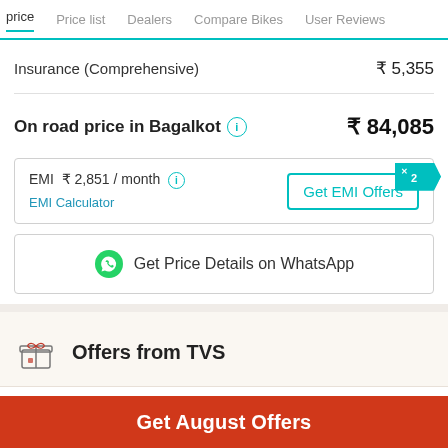price | Price list | Dealers | Compare Bikes | User Reviews
Insurance (Comprehensive) ₹ 5,355
On road price in Bagalkot ₹ 84,085
EMI ₹ 2,851 / month | EMI Calculator | Get EMI Offers
Get Price Details on WhatsApp
Offers from TVS
Get August Offers